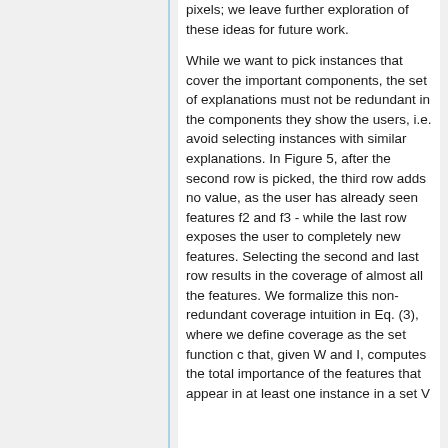pixels; we leave further exploration of these ideas for future work.
While we want to pick instances that cover the important components, the set of explanations must not be redundant in the components they show the users, i.e. avoid selecting instances with similar explanations. In Figure 5, after the second row is picked, the third row adds no value, as the user has already seen features f2 and f3 - while the last row exposes the user to completely new features. Selecting the second and last row results in the coverage of almost all the features. We formalize this non-redundant coverage intuition in Eq. (3), where we define coverage as the set function c that, given W and I, computes the total importance of the features that appear in at least one instance in a set V